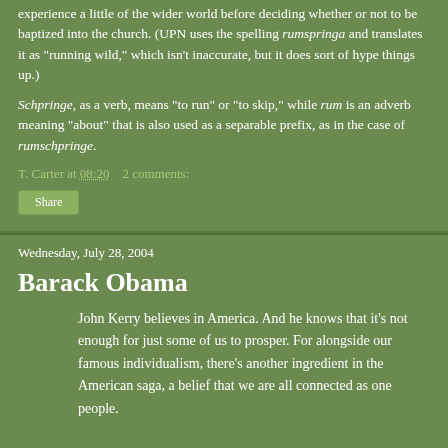experience a little of the wider world before deciding whether or not to be baptized into the church. (UPN uses the spelling rumspringa and translates it as "running wild," which isn't inaccurate, but it does sort of hype things up.)
Schpringe, as a verb, means "to run" or "to skip," while rum is an adverb meaning "about" that is also used as a separable prefix, as in the case of rumschpringe.
T. Carter at 08:20    2 comments:
Share
Wednesday, July 28, 2004
Barack Obama
John Kerry believes in America. And he knows that it's not enough for just some of us to prosper. For alongside our famous individualism, there's another ingredient in the American saga, a belief that we are all connected as one people.